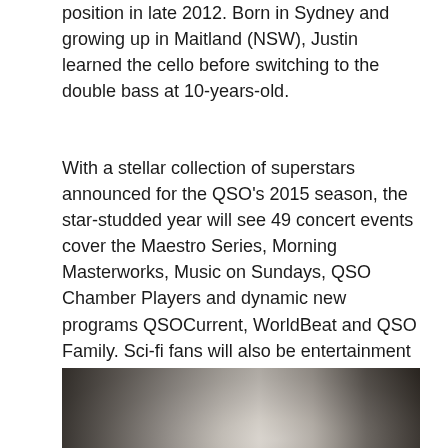position in late 2012. Born in Sydney and growing up in Maitland (NSW), Justin learned the cello before switching to the double bass at 10-years-old.
With a stellar collection of superstars announced for the QSO's 2015 season, the star-studded year will see 49 concert events cover the Maestro Series, Morning Masterworks, Music on Sundays, QSO Chamber Players and dynamic new programs QSOCurrent, WorldBeat and QSO Family. Sci-fi fans will also be entertainment with a live blockbuster concert event — 'Star Trek Live'. Among the talents gracing the stage next year will be classical musicians Maxim Vengerov, Simone Young, Mischa Maisky, Sarah Chang, Pinchas Zukerman, as well as Australia's first Soloist-in-Residence, Schlomo Mintz.
[Figure (photo): Black and white photograph of a person smiling, standing in front of what appears to be a building with foliage, partially cut off at the bottom of the page.]